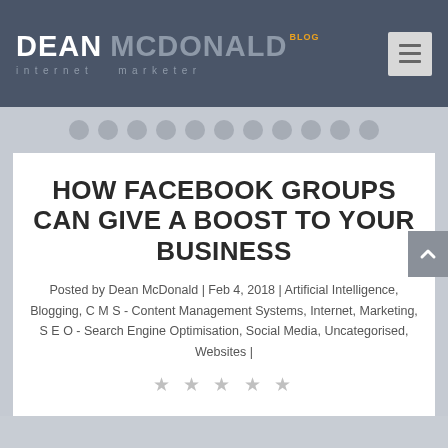DEAN MCDONALD BLOG — internet marketer
HOW FACEBOOK GROUPS CAN GIVE A BOOST TO YOUR BUSINESS
Posted by Dean McDonald | Feb 4, 2018 | Artificial Intelligence, Blogging, C M S - Content Management Systems, Internet, Marketing, S E O - Search Engine Optimisation, Social Media, Uncategorised, Websites |